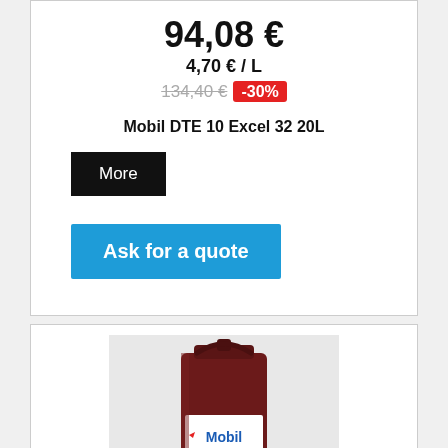94,08 €
4,70 € / L
134,40 € -30%
Mobil DTE 10 Excel 32 20L
More
Ask for a quote
[Figure (photo): Dark red/maroon Mobil branded 20L canister/jerrycan with white Mobil label visible]